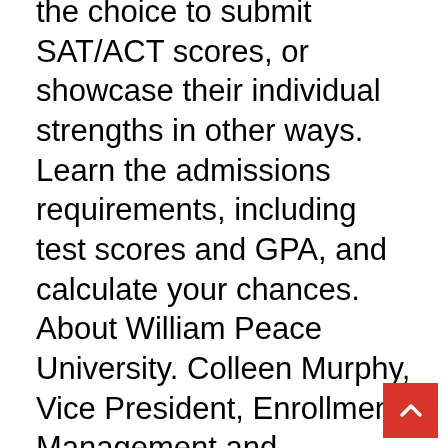the choice to submit SAT/ACT scores, or showcase their individual strengths in other ways. Learn the admissions requirements, including test scores and GPA, and calculate your chances. About William Peace University. Colleen Murphy, Vice President, Enrollment Management and Marketing, William Peace University. Founded in 1857, William Peace University is a nationally ranked, award-winning educational institution. Full time enrollment is 832 and part time is 78. Listed below is everything you need to know about completing the enrollment ... Located in the heart of Raleigh, North Carolina, Peace is proud to call one of the best cities in America ... A: We evaluate fee waivers on a case by case basis and recommend you reaching out directly to your admissions counselor. William Peace University Wofford College Worcester